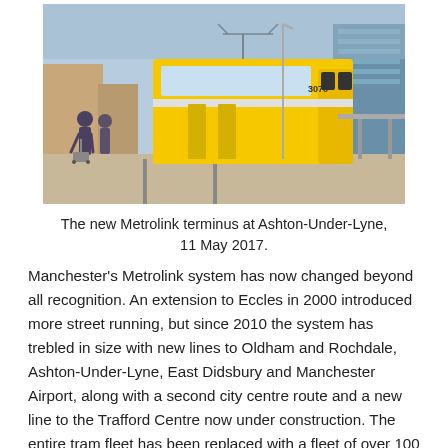[Figure (photo): A yellow Metrolink tram (numbered 3070) at the Ashton-Under-Lyne terminus station platform, with people walking nearby and urban buildings visible in the background.]
The new Metrolink terminus at Ashton-Under-Lyne, 11 May 2017.
Manchester's Metrolink system has now changed beyond all recognition. An extension to Eccles in 2000 introduced more street running, but since 2010 the system has trebled in size with new lines to Oldham and Rochdale, Ashton-Under-Lyne, East Didsbury and Manchester Airport, along with a second city centre route and a new line to the Trafford Centre now under construction. The entire tram fleet has been replaced with a fleet of over 100 modern Bombardier Flexity models.